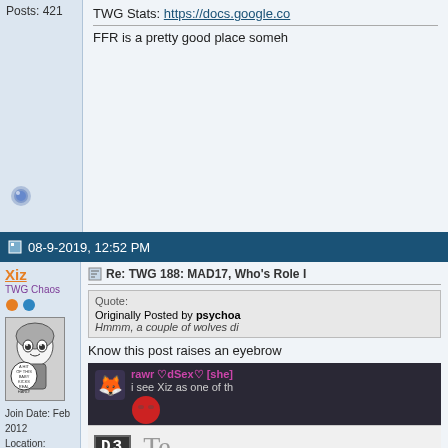Posts: 421
TWG Stats: https://docs.google.co...
FFR is a pretty good place someh...
08-9-2019, 12:52 PM
Xiz
TWG Chaos
[Figure (illustration): Manga-style illustration of an anime character with speech bubble reading: A HIT OF THIS BABY KICKS REAL HARD!]
Join Date: Feb 2012
Location: Cali4nia
Age: 31
Posts: 4,827
Re: TWG 188: MAD17, Who's Role I...
Quote:
Originally Posted by psychoa...
Hmmm, a couple of wolves di...
Know this post raises an eyebrow
[Figure (screenshot): Dark-themed chat screenshot showing rawr ♡dSex♡ [she] avatar and message: i see Xiz as one of th...]
[Figure (screenshot): D3 badge and partial text 'Te' visible at bottom]